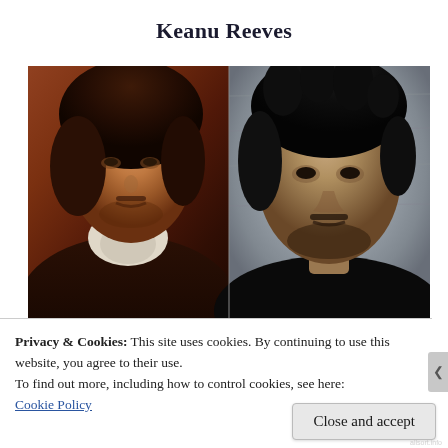Keanu Reeves
[Figure (photo): Side-by-side comparison: left side is a classical oil painting portrait of a man with dark curly hair, goatee, white collar and dark jacket; right side is a modern photograph of Keanu Reeves with dark messy hair, goatee, wearing a dark shirt, against a wooden background.]
Privacy & Cookies: This site uses cookies. By continuing to use this website, you agree to their use.
To find out more, including how to control cookies, see here:
Cookie Policy
Close and accept